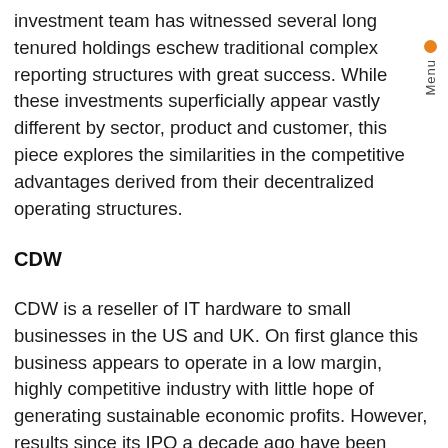investment team has witnessed several long tenured holdings eschew traditional complex reporting structures with great success. While these investments superficially appear vastly different by sector, product and customer, this piece explores the similarities in the competitive advantages derived from their decentralized operating structures.
CDW
CDW is a reseller of IT hardware to small businesses in the US and UK. On first glance this business appears to operate in a low margin, highly competitive industry with little hope of generating sustainable economic profits. However, results since its IPO a decade ago have been spectacular, compounding earnings at 19% p.a. and delivering shareholders an annual return of 32% p.a. It is Fairlight's view that a driving force in these returns is its decentralized operating structure.